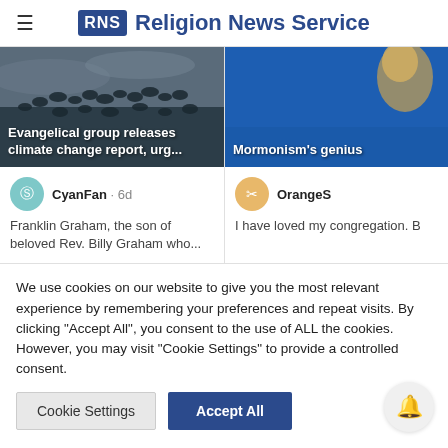Religion News Service
[Figure (screenshot): Card: dark sky with birds silhouettes. Overlay text: 'Evangelical group releases climate change report, urg...']
[Figure (screenshot): Card: blue sky background. Overlay text: 'Mormonism's genius']
CyanFan · 6d
Franklin Graham, the son of beloved Rev. Billy Graham who...
OrangeS
I have loved my congregation. B
We use cookies on our website to give you the most relevant experience by remembering your preferences and repeat visits. By clicking "Accept All", you consent to the use of ALL the cookies. However, you may visit "Cookie Settings" to provide a controlled consent.